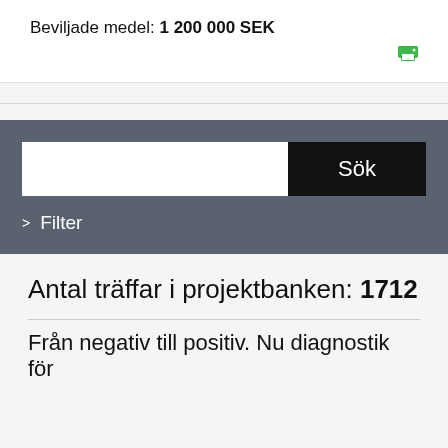Beviljade medel: 1 200 000 SEK
[Figure (illustration): Green printer icon in top right corner of white card section]
[Figure (screenshot): Search bar with white input field and black 'Sök' button on gray background, with '> Filter' link below]
Antal träffar i projektbanken: 1712
Från negativ till positiv. Nu diagnostik för